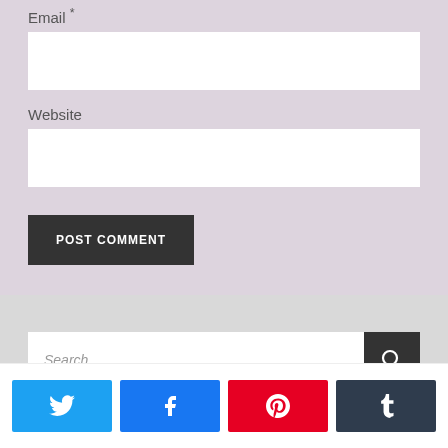Email *
Website
POST COMMENT
Search ...
[Figure (screenshot): Social sharing buttons: Twitter, Facebook, Pinterest, Tumblr]